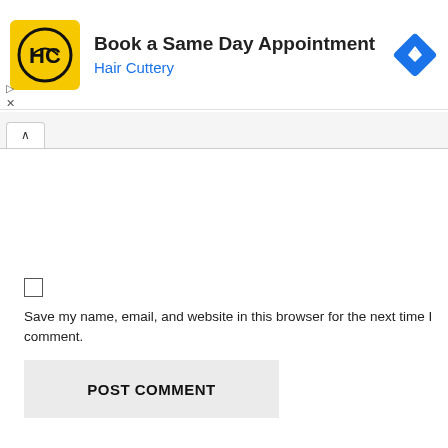[Figure (screenshot): Hair Cuttery advertisement banner with yellow logo, headline 'Book a Same Day Appointment', brand name 'Hair Cuttery' in blue, and a blue diamond navigation icon]
[Figure (screenshot): Browser-style tab bar with an upward caret/arrow tab button]
[Figure (screenshot): Unchecked checkbox input element]
Save my name, email, and website in this browser for the next time I comment.
[Figure (screenshot): POST COMMENT button with light gray background]